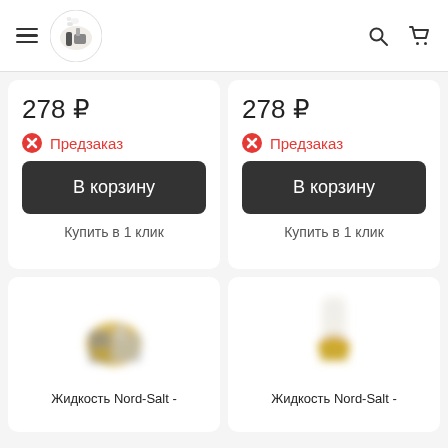Vape store header with hamburger menu, logo, search and cart icons
278 ₽
Предзаказ
В корзину
Купить в 1 клик
278 ₽
Предзаказ
В корзину
Купить в 1 клик
[Figure (photo): Product image of Nord-Salt vape liquid bottle, blurred]
Жидкость Nord-Salt -
[Figure (photo): Product image of Nord-Salt vape liquid bottle, blurred]
Жидкость Nord-Salt -